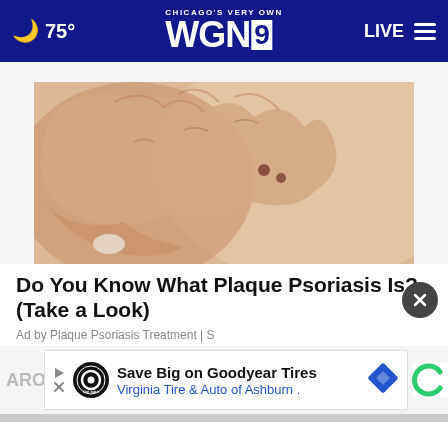CHICAGO'S VERY OWN WGN9 — 75° LIVE
[Figure (photo): Close-up photo of a hand touching skin with small dark spots, related to plaque psoriasis article]
Do You Know What Plaque Psoriasis Is? (Take a Look)
Ad by Plaque Psoriasis Treatment | S
[Figure (screenshot): Advertisement banner: Save Big on Goodyear Tires — Virginia Tire & Auto of Ashburn, with Tire Auto logo, play/close icons, and blue diamond shape. Partially visible 'ARO' text and Criteo logo on sides.]